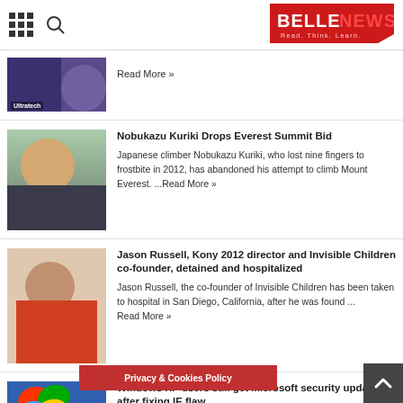BELLENEWS — Read. Think. Learn.
[Figure (photo): Partial article thumbnail - person with Ultratech branding, purple jersey]
Read More »
Nobukazu Kuriki Drops Everest Summit Bid
Japanese climber Nobukazu Kuriki, who lost nine fingers to frostbite in 2012, has abandoned his attempt to climb Mount Everest. ...Read More »
[Figure (photo): Portrait of Nobukazu Kuriki in mountaineering gear]
Jason Russell, Kony 2012 director and Invisible Children co-founder, detained and hospitalized
Jason Russell, the co-founder of Invisible Children has been taken to hospital in San Diego, California, after he was found ... Read More »
[Figure (photo): Portrait of Jason Russell in a red shirt]
Windows XP users still get Microsoft security update after fixing IE flaw
Windows XP users can still get a Microsoft security update after it has fixed a fla... Read More »
[Figure (photo): Microsoft Windows XP logo on blue background]
Privacy & Cookies Policy